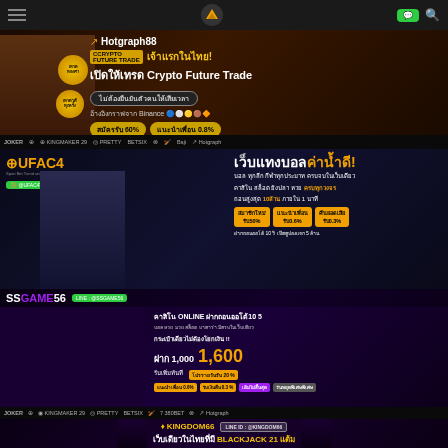[Figure (screenshot): Navigation bar with hamburger menu, logo icon, green chat button and search icon]
[Figure (screenshot): Hotgraph88 banner advertising Crypto Future Trade platform in Thai. Text: เจ้าแรกในไทย! เปิดให้เทรด Crypto Future Trade ไม่ต้องยืนยันตัวคนให้เสียเวลา อ้างอิงกราฟจาก Binance สมัครรับ 60% แนะนำเพื่อน 0.8%]
[Figure (screenshot): Brand bar showing logos: JOKER, KINGMAKER, PRETTY, BETSIX, Baji, Hotgraph]
[Figure (screenshot): UFAC4 banner - เว็บแทงบอลค่าน้ำดี! บอล ทุกลีก กีฬาทุกประมาท ครบจบในเว็บเดียว คาสิโน สล็อต ยิงปลา หวย ครบทุกวงจร ถอนสูงสุด 10ล้าน ภายใน 1 นาที สมาชิกใหม่ รับ50% แนะนำเพื่อน รับ0.6% คืนยอดเสีย รับ0.3% ฝากถอนออโต้ 10 วิ เปิดคูปองแจก 5 ล้าน]
[Figure (screenshot): SSGAME56 banner - คาสิโน ONLINE ฝากถอนออโต้10 5 บอล หวย มวย สล็อต บาคาร่า มีครบในเว็บเดียว กระเป๋าเดียวไม่ต้องโยกเงิน!! ฝาก 1,000 รับเพิ่มทันที 1,600 โปรรายวันรับ 20% แนะนำเพื่อน 0.6% รับเงินคืน 0.3% เติมไม่สิ้นสุด วันหยุดพิเศษ]
[Figure (screenshot): Brand bar 2 showing game provider logos]
[Figure (screenshot): Kingdom66 banner - LINE ID: @KINGDOM66 เว็บเดียวในไทยที่มี BLACKJACK 21 แต้ม]